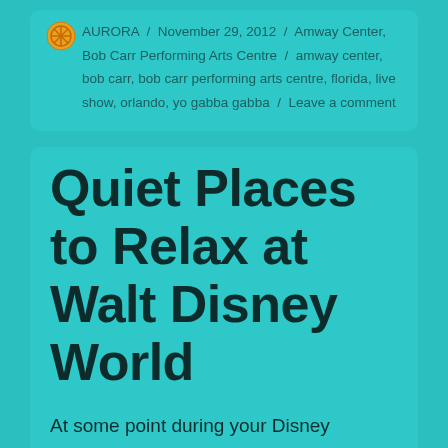AURORA / November 29, 2012 / Amway Center, Bob Carr Performing Arts Centre / amway center, bob carr, bob carr performing arts centre, florida, live show, orlando, yo gabba gabba / Leave a comment
Quiet Places to Relax at Walt Disney World
At some point during your Disney vacation, or even if you are just a local needing a break, it is nice to take some